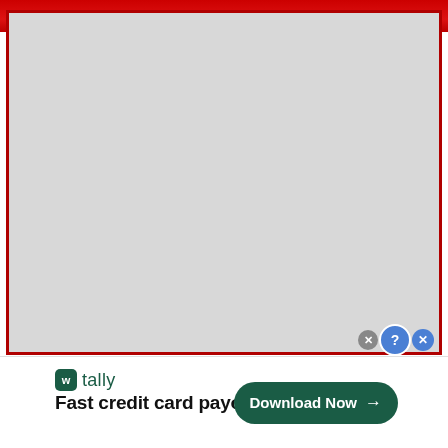[Figure (other): Red header bar at the top of a webpage screenshot]
[Figure (other): Large light gray content area with dark red border, representing a loading or blank content region on a website]
[Figure (advertisement): Tally app advertisement banner with logo, tagline 'Fast credit card payoff', and a green 'Download Now' button with arrow]
tally
Fast credit card payoff
Download Now